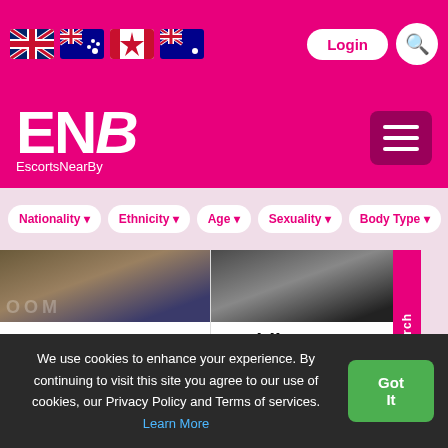EscortsNearBy - Login, Search, Nationality, Ethnicity, Age, Sexuality, Body Type filters
[Figure (screenshot): Website header with logo ENB EscortsNearBy, flag icons for UK, Australia, Canada, Australia, Login button and search icon, hamburger menu]
Nationality  Ethnicity  Age  Sexuality  Body Type
[Figure (photo): Profile card for LEWIS - photo of person, description: Hi are you curious straight or bi wanna some fun today am a cu, City: Red Hill, IN Call : Out Call, 5 photos]
[Figure (photo): Profile card for maddison - photo of person, description: *IM TRANS, YES I HAVE A DI K, Hi boys, gentlemen and dad, City: Bombay, IN Call : Out Call, 5 photos]
We use cookies to enhance your experience. By continuing to visit this site you agree to our use of cookies, our Privacy Policy and Terms of services. Learn More